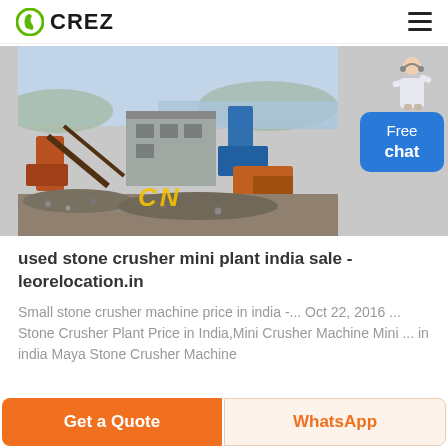CREZ
[Figure (photo): Industrial stone crusher mini plant with heavy machinery, conveyor belts, and a grey metal building on a rocky outdoor site. Yellow CN watermark visible at bottom center.]
used stone crusher mini plant india sale - leorelocation.in
Small stone crusher machine price in india -... Oct 22, 2016 ... Stone Crusher Plant Price in India,Mini Crusher Machine Mini ... in india Maya Stone Crusher Machine
Get a Quote   WhatsApp